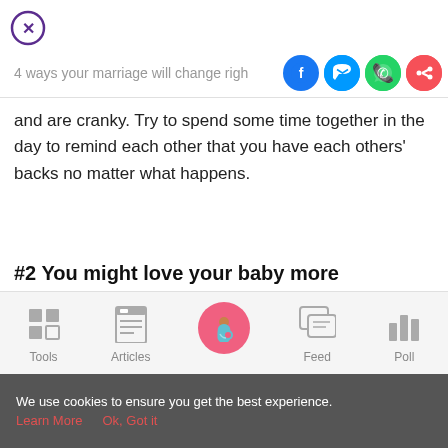[Figure (other): Close button (X in circle, purple outline)]
4 ways your marriage will change righ
[Figure (other): Social sharing icons: Facebook (blue), Messenger (blue), WhatsApp (green), Share (red)]
and are cranky. Try to spend some time together in the day to remind each other that you have each others' backs no matter what happens.
#2 You might love your baby more
[Figure (photo): Partial photo strip showing skin tones and blurred background in blue/peach tones]
[Figure (infographic): Bottom navigation bar with Tools (grid icon), Articles (clipboard icon), Home (pregnant woman icon on pink circle), Feed (chat icon), Poll (bar chart icon)]
We use cookies to ensure you get the best experience.
Learn More   Ok, Got it